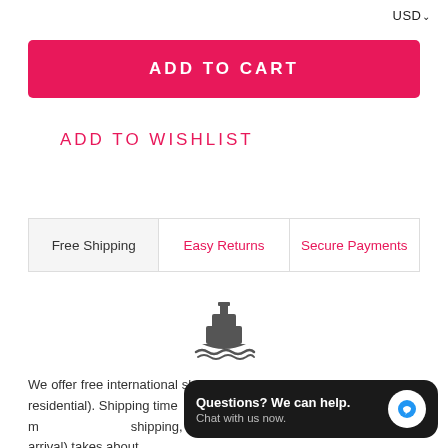USD
ADD TO CART
ADD TO WISHLIST
Free Shipping | Easy Returns | Secure Payments
[Figure (illustration): Ship/boat icon in dark gray representing free international shipping]
We offer free international shipping from (business or residential). Shipping time whole process (preparation of custom shipping, and customs clearance in the country of arrival) takes about